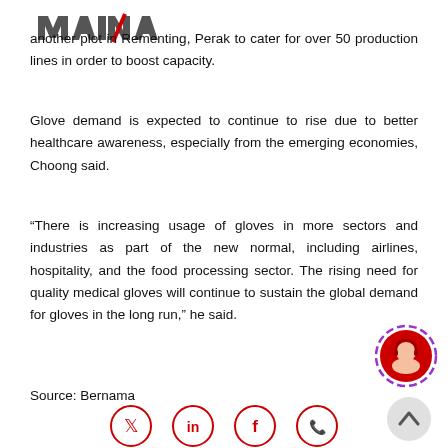MAINA (logo)
another plot in Rementing, Perak to cater for over 50 production lines in order to boost capacity.
Glove demand is expected to continue to rise due to better healthcare awareness, especially from the emerging economies, Choong said.
“There is increasing usage of gloves in more sectors and industries as part of the new normal, including airlines, hospitality, and the food processing sector. The rising need for quality medical gloves will continue to sustain the global demand for gloves in the long run,” he said.
Source: Bernama
[Figure (other): Social media share icons: Twitter, LinkedIn, Facebook, WhatsApp — circular red outline icons]
[Figure (other): Chat support widget — circular icon with customer service representative and purple/violet spinner ring]
[Figure (other): Scroll to top button — grey circle with upward chevron]